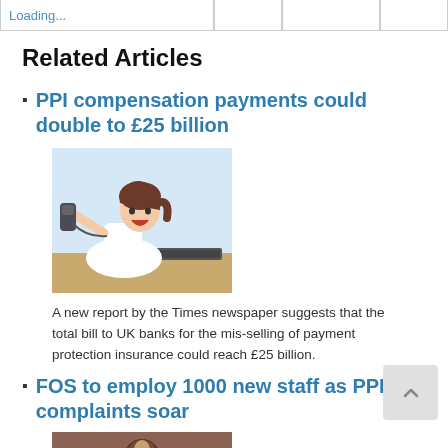Loading...
Related Articles
PPI compensation payments could double to £25 billion
[Figure (photo): Woman shouting angrily into a telephone handset]
A new report by the Times newspaper suggests that the total bill to UK banks for the mis-selling of payment protection insurance could reach £25 billion.
FOS to employ 1000 new staff as PPI complaints soar
[Figure (photo): Partial view of a second article image, dark reddish-brown tones]